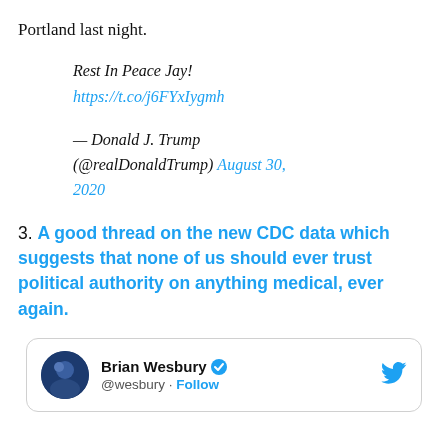Portland last night.
Rest In Peace Jay!
https://t.co/j6FYxIygmh
— Donald J. Trump (@realDonaldTump) August 30, 2020
3. A good thread on the new CDC data which suggests that none of us should ever trust political authority on anything medical, ever again.
[Figure (screenshot): Twitter/X card showing Brian Wesbury @wesbury with Follow button and Twitter bird logo]